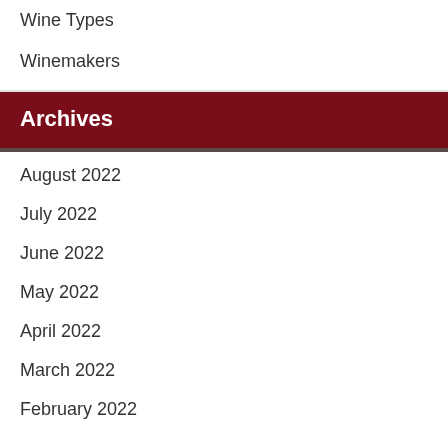Wine Types
Winemakers
Archives
August 2022
July 2022
June 2022
May 2022
April 2022
March 2022
February 2022